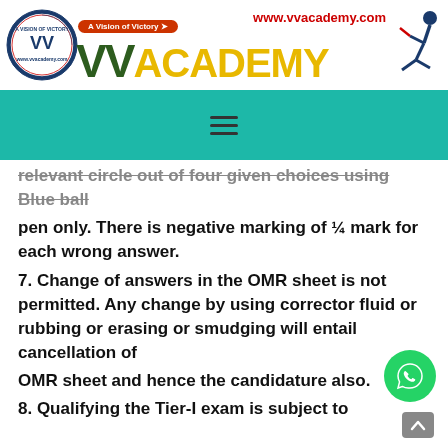[Figure (logo): VV Academy logo with circular emblem, VV ACADEMY text, tagline 'A Vision of Victory', website URL and running figure]
[Figure (other): Teal/green navigation bar with hamburger menu icon]
relevant circle out of four given choices using Blue ball
pen only. There is negative marking of ¼ mark for each wrong answer.
7. Change of answers in the OMR sheet is not permitted. Any change by using corrector fluid or rubbing or erasing or smudging will entail cancellation of
OMR sheet and hence the candidature also.
8. Qualifying the Tier-I exam is subject to